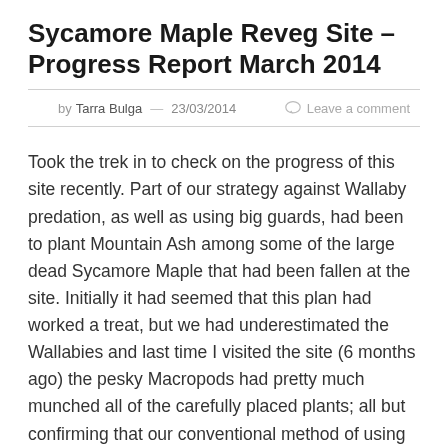Sycamore Maple Reveg Site – Progress Report March 2014
by Tarra Bulga  —  23/03/2014   Leave a comment
Took the trek in to check on the progress of this site recently. Part of our strategy against Wallaby predation, as well as using big guards, had been to plant Mountain Ash among some of the large dead Sycamore Maple that had been fallen at the site. Initially it had seemed that this plan had worked a treat, but we had underestimated the Wallabies and last time I visited the site (6 months ago) the pesky Macropods had pretty much munched all of the carefully placed plants; all but confirming that our conventional method of using big wire mesh tree